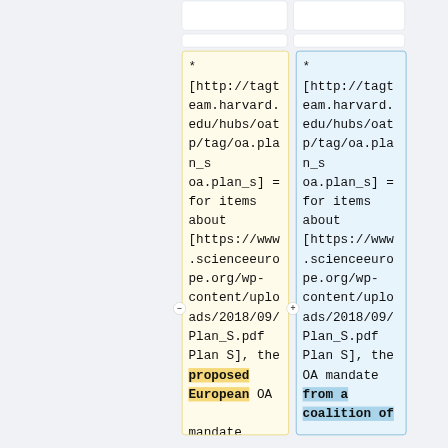* [http://tagteam.harvard.edu/hubs/oatp/tag/oa.plan_s oa.plan_s] = for items about [https://www.scienceeurope.org/wp-content/uploads/2018/09/Plan_S.pdf Plan S], the proposed European OA mandate
* [http://tagteam.harvard.edu/hubs/oatp/tag/oa.plan_s oa.plan_s] = for items about [https://www.scienceeurope.org/wp-content/uploads/2018/09/Plan_S.pdf Plan S], the OA mandate from a coalition of